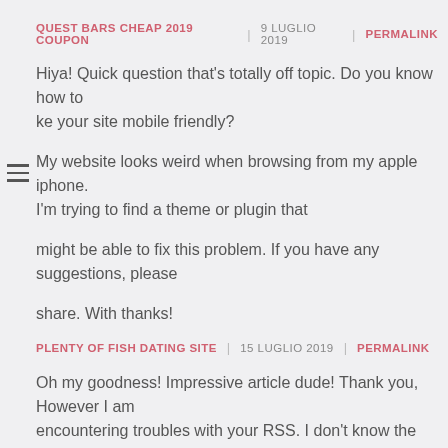QUEST BARS CHEAP 2019 COUPON | 9 LUGLIO 2019 | PERMALINK
Hiya! Quick question that’s totally off topic. Do you know how to make your site mobile friendly?
My website looks weird when browsing from my apple iphone. I’m trying to find a theme or plugin that might be able to fix this problem. If you have any suggestions, please share. With thanks!
PLENTY OF FISH DATING SITE | 15 LUGLIO 2019 | PERMALINK
Oh my goodness! Impressive article dude! Thank you, However I am encountering troubles with your RSS. I don’t know the reason why I cannot join it.
Is there anybody having identical RSS problems? Anyone that knows the answer will you kindly respond? Thanx!!